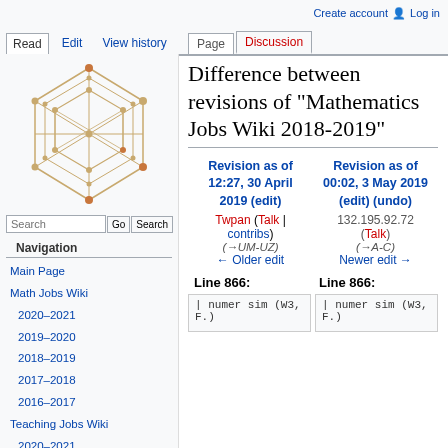Create account | Log in
Read | Edit | View history | Page | Discussion
[Figure (illustration): Wikipedia logo: hexagonal network graph with nodes and edges in tan/orange colors]
Search [Go] [Search]
Navigation
Main Page
Math Jobs Wiki
2020–2021
2019–2020
2018–2019
2017–2018
2016–2017
Teaching Jobs Wiki
2020–2021
2019–2020
2018–2019
2017–2018
2016–2017
Difference between revisions of "Mathematics Jobs Wiki 2018-2019"
| Revision as of 12:27, 30 April 2019 (edit) | Revision as of 00:02, 3 May 2019 (edit) (undo) |
| --- | --- |
| Twpan (Talk | contribs) | 132.195.92.72 (Talk) |
| (→UM-UZ) | (→A-C) |
| ← Older edit | Newer edit → |
Line 866:
Line 866:
| numer sim (W3, F.)
| numer sim (W3, F.)